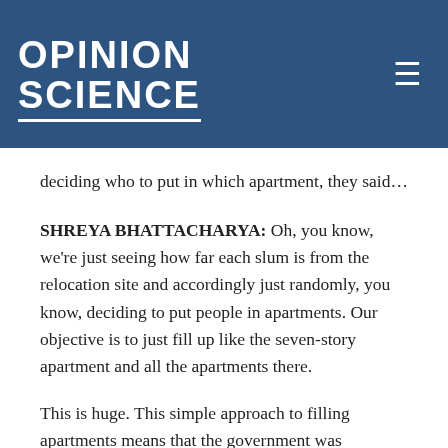OPINION SCIENCE
deciding who to put in which apartment, they said…
SHREYA BHATTACHARYA: Oh, you know, we're just seeing how far each slum is from the relocation site and accordingly just randomly, you know, deciding to put people in apartments. Our objective is to just fill up like the seven-story apartment and all the apartments there.
This is huge. This simple approach to filling apartments means that the government was